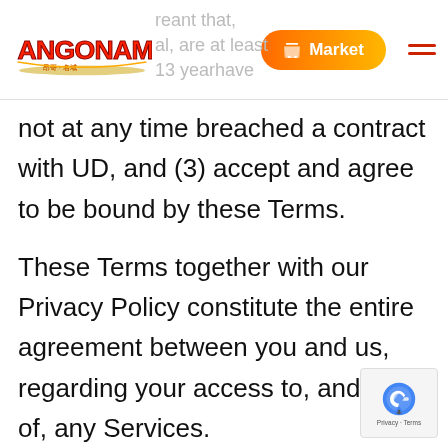Angoname — Market
not at any time breached a contract with UD, and (3) accept and agree to be bound by these Terms.
These Terms together with our Privacy Policy constitute the entire agreement between you and us, regarding your access to, and use of, any Services.
1. Account Registration. To create an account